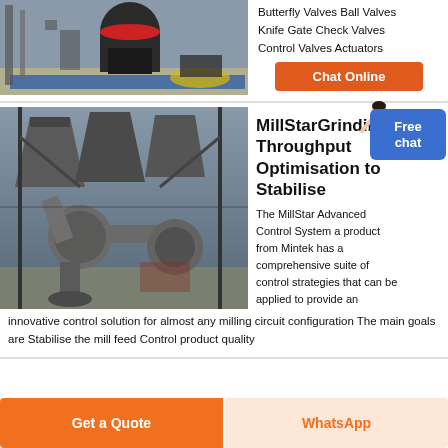[Figure (photo): Industrial grinding mill equipment in a factory setting, large cylindrical mill visible]
Butterfly Valves Ball Valves
Knife Gate Check Valves
Control Valves Actuators
Chat Online
[Figure (photo): Industrial milling circuit with large pipes, cyclones, and processing equipment]
MillStarGrinding Throughput Optimisation to Stabilise
Free chat
The MillStar Advanced Control System a product from Mintek has a comprehensive suite of control strategies that can be applied to provide an innovative control solution for almost any milling circuit configuration The main goals are Stabilise the mill feed Control product quality
Get a Quote
WhatsApp